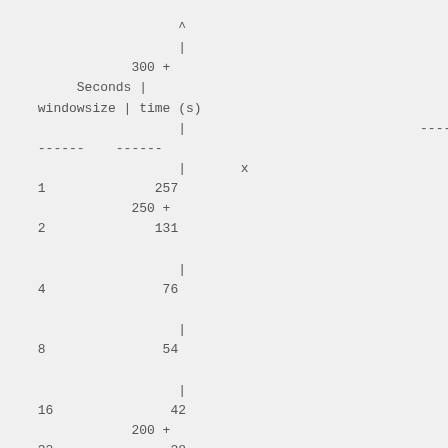[Figure (other): ASCII text-based table/chart showing windowsize vs time(s) data with axis labels. Columns: windowsize | time (s). Data rows: 1=257, 2=131, 4=76, 8=54, 16=42, 32=38, 64=35. Y-axis markers at 300, 250, 200 with + symbols and | vertical line. Dashes used as separators.]